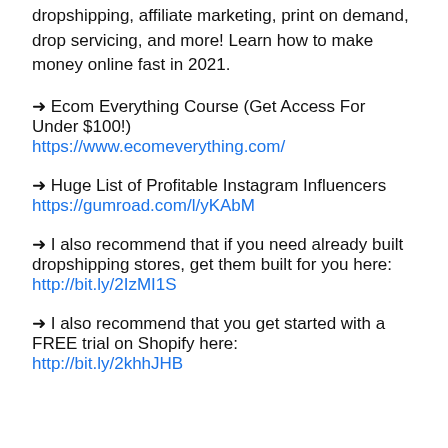dropshipping, affiliate marketing, print on demand, drop servicing, and more! Learn how to make money online fast in 2021.
→ Ecom Everything Course (Get Access For Under $100!)
https://www.ecomeverything.com/
→ Huge List of Profitable Instagram Influencers
https://gumroad.com/l/yKAbM
→ I also recommend that if you need already built dropshipping stores, get them built for you here:
http://bit.ly/2IzMI1S
→ I also recommend that you get started with a FREE trial on Shopify here:
http://bit.ly/2khhJHB